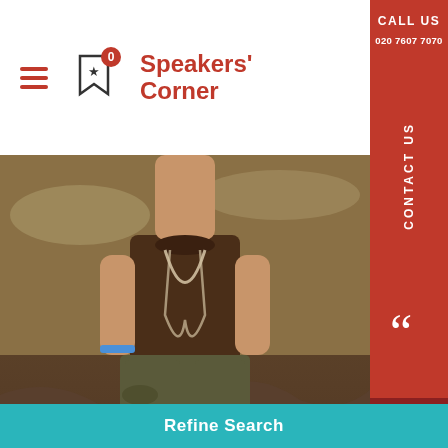Speakers' Corner — CALL US 020 7607 7070
[Figure (photo): Full-body photo of Ben Keene standing outdoors on rocky terrain wearing a brown t-shirt, camouflage shorts, holding a white binder/book, with a necklace visible]
Ben Keene
A social entrepreneur, Ben Keene recruited an
Refine Search